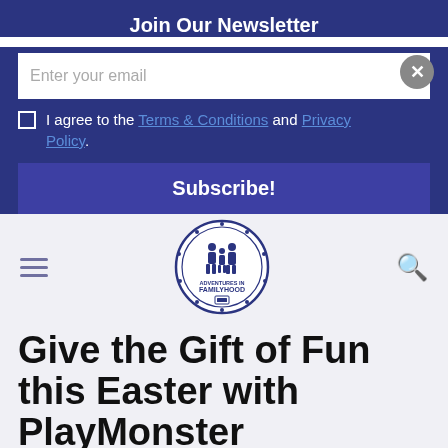Join Our Newsletter
Enter your email
I agree to the Terms & Conditions and Privacy Policy.
Subscribe!
[Figure (logo): Adventures in Familyhood circular logo with family silhouette]
Give the Gift of Fun this Easter with PlayMonster